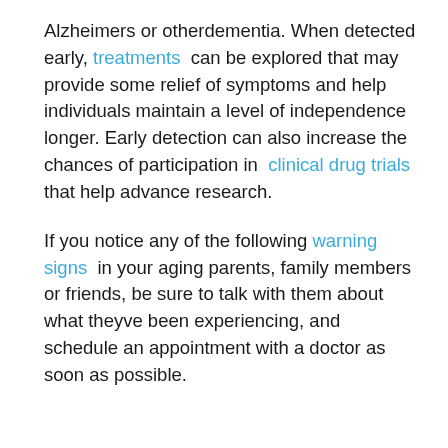Alzheimers or otherdementia. When detected early, treatments can be explored that may provide some relief of symptoms and help individuals maintain a level of independence longer. Early detection can also increase the chances of participation in clinical drug trials that help advance research.
If you notice any of the following warning signs in your aging parents, family members or friends, be sure to talk with them about what theyve been experiencing, and schedule an appointment with a doctor as soon as possible.